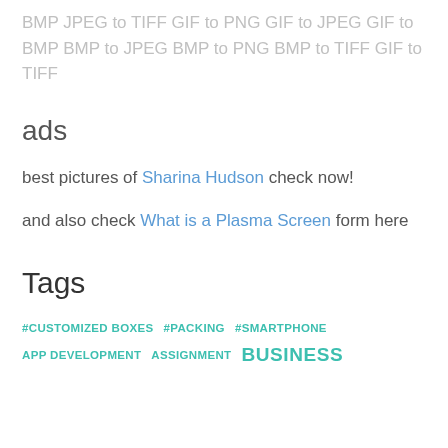BMP JPEG to TIFF GIF to PNG GIF to JPEG GIF to BMP BMP to JPEG BMP to PNG BMP to TIFF GIF to TIFF
ads
best pictures of Sharina Hudson check now!
and also check What is a Plasma Screen form here
Tags
#CUSTOMIZED BOXES
#PACKING
#SMARTPHONE
APP DEVELOPMENT
ASSIGNMENT
BUSINESS